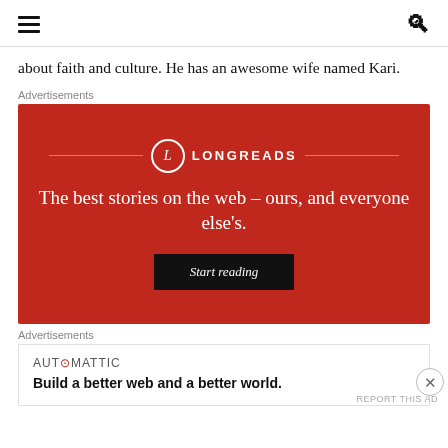[hamburger menu] [search icon]
about faith and culture. He has an awesome wife named Kari.
Advertisements
[Figure (infographic): Longreads advertisement banner (red background). Logo: circle with 'L' and 'LONGREADS' text. Tagline: 'The best stories on the web – ours, and everyone else's.' Button: 'Start reading']
Advertisements
[Figure (infographic): Automattic advertisement. Logo: 'AUT⊙MATTIC'. Tagline: 'Build a better web and a better world.']